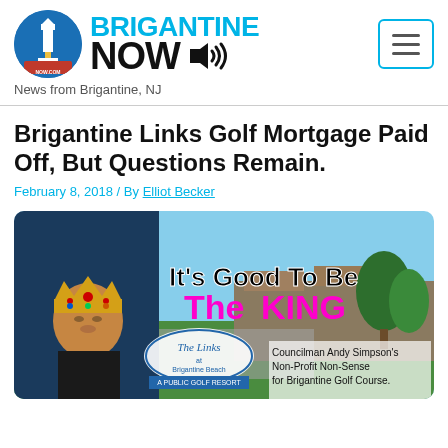[Figure (logo): Brigantine Now logo with circular lighthouse icon and site name in cyan and black bold text, plus speaker icon]
News from Brigantine, NJ
Brigantine Links Golf Mortgage Paid Off, But Questions Remain.
February 8, 2018 / By Elliot Becker
[Figure (photo): Composite image with man wearing a golden crown, text saying It's Good To Be The KING in black and magenta, The Links at Brigantine Beach A Public Golf Resort sign, and caption: Councilman Andy Simpson's Non-Profit Non-Sense for Brigantine Golf Course.]